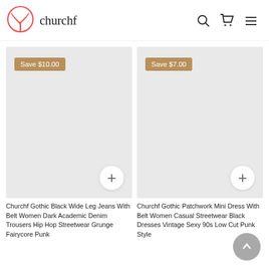churchf — e-commerce store header with logo, search, cart, and menu icons
[Figure (screenshot): Left product card: light grey product image placeholder with 'Save $10.00' badge and '+' add-to-cart button]
Churchf Gothic Black Wide Leg Jeans With Belt Women Dark Academic Denim Trousers Hip Hop Streetwear Grunge Fairycore Punk
[Figure (screenshot): Right product card: light grey product image placeholder with 'Save $7.00' badge and '+' add-to-cart button]
Churchf Gothic Patchwork Mini Dress With Belt Women Casual Streetwear Black Dresses Vintage Sexy 90s Low Cut Punk Style